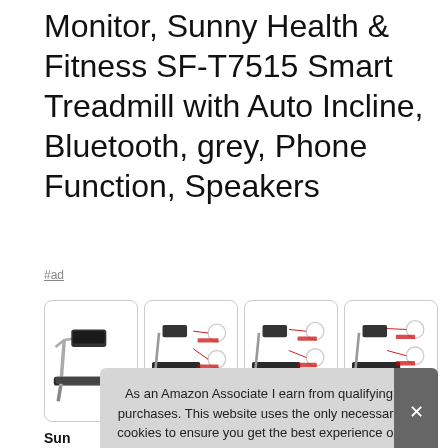Monitor, Sunny Health & Fitness SF-T7515 Smart Treadmill with Auto Incline, Bluetooth, grey, Phone Function, Speakers
#ad
[Figure (photo): Four thumbnail images of the Sunny Health & Fitness SF-T7515 treadmill: 1) full side view of treadmill, 2) diagram with feature callouts, 3) another diagram with feature callouts, 4) another diagram with feature callouts]
As an Amazon Associate I earn from qualifying purchases. This website uses the only necessary cookies to ensure you get the best experience on our website. More information
Sun… incli… mor… Reference Only.